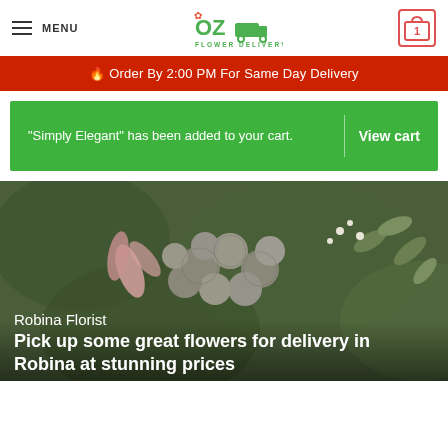MENU | OZ Flower Delivery | Cart 1
🔥 Order By 2:00 PM For Same Day Delivery
"Simply Elegant" has been added to your cart. | View cart
[Figure (photo): Close-up photo of a floral bouquet with round grey-green buds, pink lilies, eucalyptus leaves, and other flowers]
Robina Florist
Pick up some great flowers for delivery in Robina at stunning prices